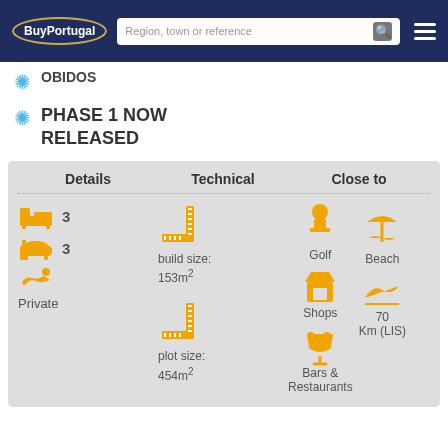BuyPortugal | Region, town or reference
OBIDOS
PHASE 1 NOW RELEASED
| Details | Technical | Close to |
| --- | --- | --- |
| 3 bedrooms, 3 bathrooms, Private pool | build size: 153m²
plot size: 454m² | Golf, Beach, Shops, Bars & Restaurants, 70 Km (LIS) |